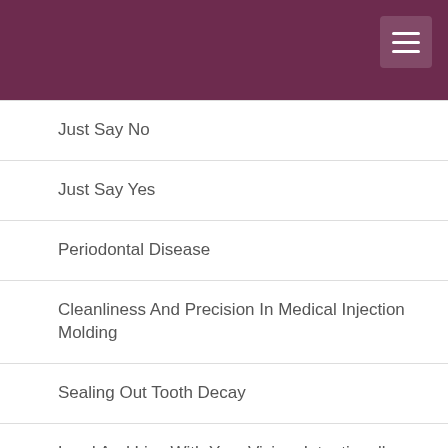Just Say No
Just Say Yes
Periodontal Disease
Cleanliness And Precision In Medical Injection Molding
Sealing Out Tooth Decay
Lead And Live With Your Vision. Intentionally.
Perinatal And Infant Oral Health
I Have A New Identity